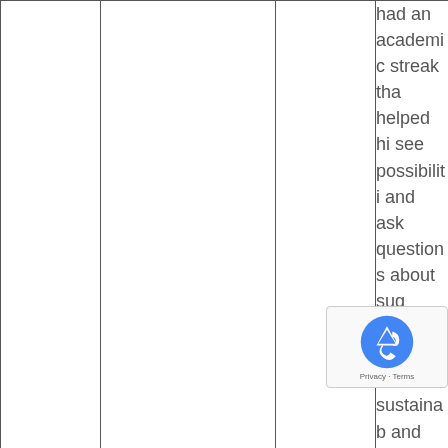|  |  |  | had an academic streak tha helped hi see possibiliti and ask questions about sug cane, agricultur sustainab and environm impact. Th persistent inquis took h Louisiana |